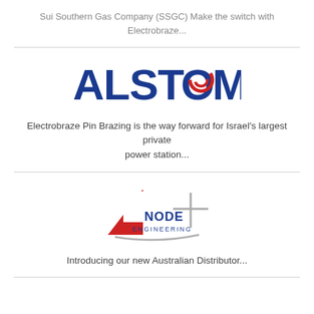Sui Southern Gas Company (SSGC) Make the switch with Electrobraze...
[Figure (logo): ALSTOM company logo in blue and red]
Electrobraze Pin Brazing is the way forward for Israel’s largest private power station...
[Figure (logo): Anode Engineering company logo with red triangle number 4 and stylized text]
Introducing our new Australian Distributor...